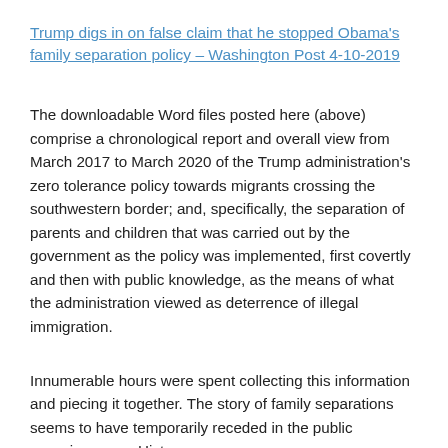Trump digs in on false claim that he stopped Obama's family separation policy – Washington Post 4-10-2019
The downloadable Word files posted here (above) comprise a chronological report and overall view from March 2017 to March 2020 of the Trump administration's zero tolerance policy towards migrants crossing the southwestern border; and, specifically, the separation of parents and children that was carried out by the government as the policy was implemented, first covertly and then with public knowledge, as the means of what the administration viewed as deterrence of illegal immigration.
Innumerable hours were spent collecting this information and piecing it together. The story of family separations seems to have temporarily receded in the public consciousness. History